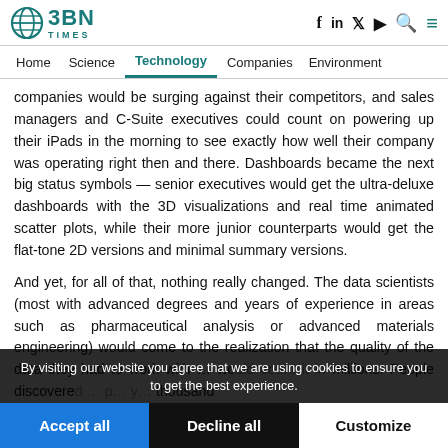BBN TIMES — Header with logo, social icons, navigation
companies would be surging against their competitors, and sales managers and C-Suite executives could count on powering up their iPads in the morning to see exactly how well their company was operating right then and there. Dashboards became the next big status symbols — senior executives would get the ultra-deluxe dashboards with the 3D visualizations and real time animated scatter plots, while their more junior counterparts would get the flat-tone 2D versions and minimal summary versions.
And yet, for all of that, nothing really changed. The data scientists (most with advanced degrees and years of experience in areas such as pharmaceutical analysis or advanced materials engineering) would come to the realization that the quality of the data they had to work with … would count it in millions. People discovered … p… y… thousand
By visiting our website you agree that we are using cookies to ensure you to get the best experience.